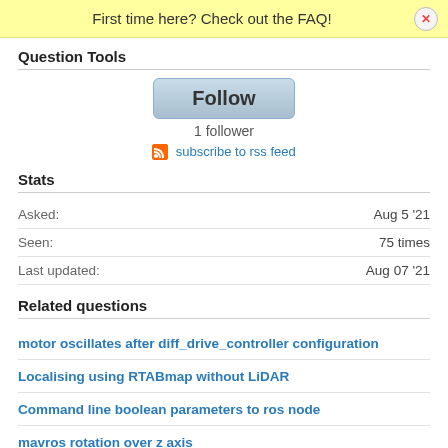First time here? Check out the FAQ!
Question Tools
[Figure (other): Follow button with 1 follower count and RSS subscribe link]
Stats
| Asked: | Aug 5 '21 |
| Seen: | 75 times |
| Last updated: | Aug 07 '21 |
Related questions
motor oscillates after diff_drive_controller configuration
Localising using RTABmap without LiDAR
Command line boolean parameters to ros node
mavros rotation over z axis